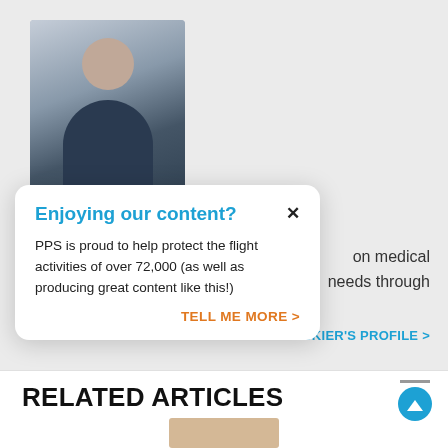[Figure (photo): Profile photo of a middle-aged man with grey hair wearing sunglasses and a dark t-shirt, smiling outdoors]
Enjoying our content?
PPS is proud to help protect the flight activities of over 72,000 (as well as producing great content like this!)
TELL ME MORE >
on medical needs through
CKIER'S PROFILE >
RELATED ARTICLES